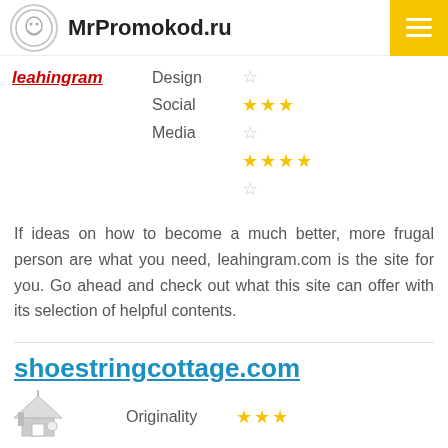MrPromokod.ru
leahingram — Design ☆, Social ★★★, Media ☆, ★★★★, ☆
If ideas on how to become a much better, more frugal person are what you need, leahingram.com is the site for you. Go ahead and check out what this site can offer with its selection of helpful contents.
shoestringcottage.com
Originality ★★★